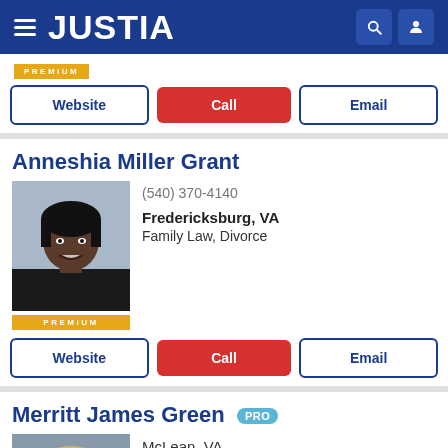JUSTIA
[Figure (logo): PREMIUM badge (gold)]
Website | Call | Email (buttons)
Anneshia Miller Grant
[Figure (photo): Professional headshot of Anneshia Miller Grant, African American woman with dark hair, smiling, with PREMIUM badge below]
(540) 370-4140
Fredericksburg, VA
Family Law, Divorce
Website | Call | Email (buttons)
Merritt James Green
[Figure (photo): Professional headshot of Merritt James Green, middle-aged white man with light hair, partial view]
McLean, VA
(703) 556-0411
Business Law, Employment Law, Divorce, Fami...